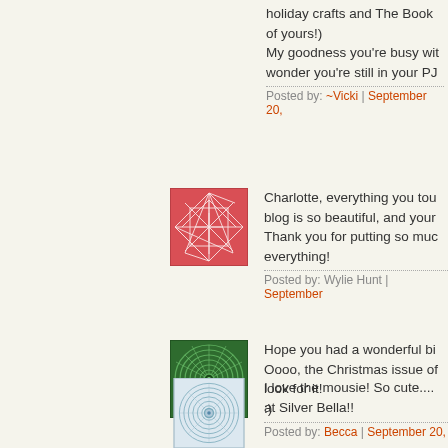holiday crafts and The Book of yours!)
My goodness you're busy wit... wonder you're still in your PJ...
Posted by: ~Vicki | September 20,...
[Figure (illustration): Red/pink abstract geometric pattern avatar icon]
Charlotte, everything you tou... blog is so beautiful, and your... Thank you for putting so muc... everything!
Posted by: Wylie Hunt | September...
[Figure (illustration): Green spiral/swirl pattern avatar icon]
Hope you had a wonderful bi... Oooo, the Christmas issue of... look for it!
:)
Posted by: Becca | September 20,...
[Figure (illustration): Blue/grey circular spiral pattern avatar icon]
I love the mousie! So cute....
at Silver Bella!!